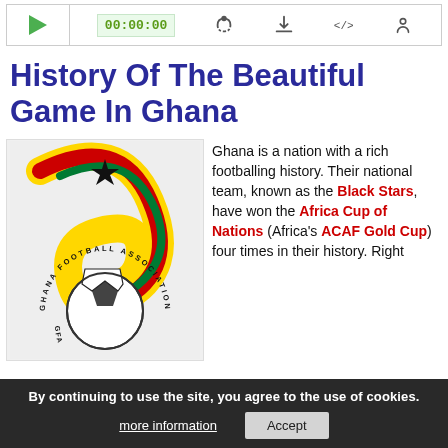[Figure (screenshot): Audio/podcast player bar with play button (green triangle), time display showing 00:00:00, and control icons: RSS feed, download, embed code, and settings/user icon]
History Of The Beautiful Game In Ghana
[Figure (logo): Ghana Football Association logo featuring colorful curved bands in red, yellow, green with a black star and a football/soccer ball, with text around the circular border reading GHANA FA]
Ghana is a nation with a rich footballing history. Their national team, known as the Black Stars, have won the Africa Cup of Nations (Africa's ... ACAF Gold Cup) four times in their history. Right
By continuing to use the site, you agree to the use of cookies.
more information   Accept